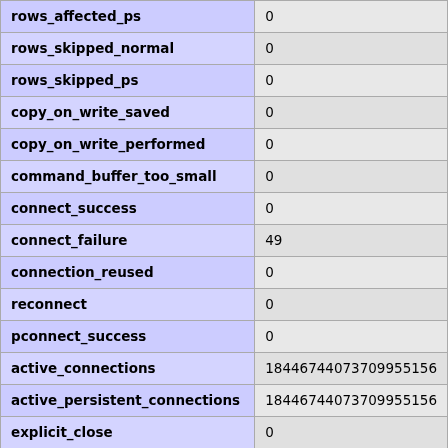| rows_affected_ps | 0 |
| rows_skipped_normal | 0 |
| rows_skipped_ps | 0 |
| copy_on_write_saved | 0 |
| copy_on_write_performed | 0 |
| command_buffer_too_small | 0 |
| connect_success | 0 |
| connect_failure | 49 |
| connection_reused | 0 |
| reconnect | 0 |
| pconnect_success | 0 |
| active_connections | 18446744073709955156 |
| active_persistent_connections | 18446744073709955156 |
| explicit_close | 0 |
| implicit_close | 0 |
| disconnect_close | 0 |
| in_middle_of_command_close | 0 |
| explicit_free_result | 0 |
| implicit_free_result | 0 |
| explicit_stmt_close | 0 |